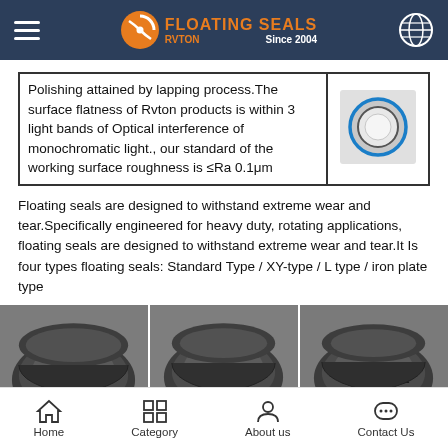RVTON FLOATING SEALS Since 2004
| Polishing attained by lapping process.The surface flatness of Rvton products is within 3 light bands of Optical interference of monochromatic light., our standard of the working surface roughness is ≤Ra 0.1μm | [image of floating seal rings] |
Floating seals are designed to withstand extreme wear and tear.Specifically engineered for heavy duty, rotating applications, floating seals are designed to withstand extreme wear and tear.It Is four types floating seals: Standard Type / XY-type / L type / iron plate type
[Figure (photo): Three product photos of floating seal cross-sections in dark grey, showing different profiles/types]
Home  Category  About us  Contact Us